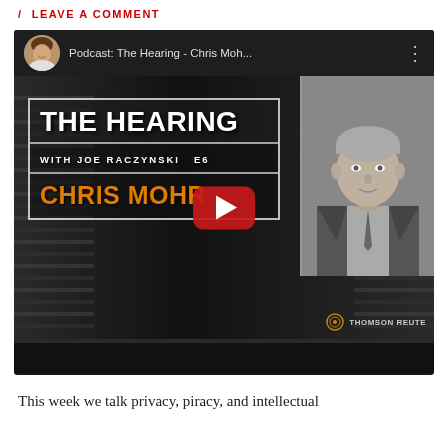LEAVE A COMMENT
[Figure (screenshot): YouTube embed preview showing 'Podcast: The Hearing - Chris Moh...' with thumbnail of The Hearing podcast featuring Chris Mohr, with Joe Raczynski, Thomson Reuters branding, and a red play button overlay.]
This week we talk privacy, piracy, and intellectual